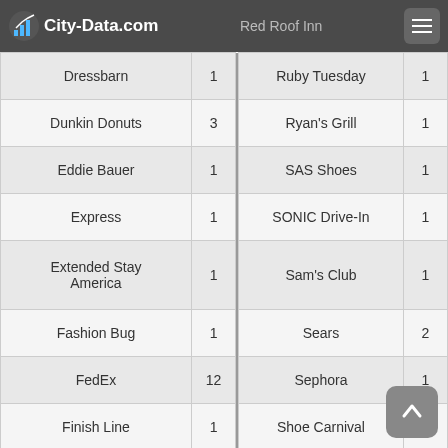City-Data.com | Red Roof Inn
| Brand | Count | Brand | Count |
| --- | --- | --- | --- |
| Dressbarn | 1 | Ruby Tuesday | 1 |
| Dunkin Donuts | 3 | Ryan's Grill | 1 |
| Eddie Bauer | 1 | SAS Shoes | 1 |
| Express | 1 | SONIC Drive-In | 1 |
| Extended Stay America | 1 | Sam's Club | 1 |
| Fashion Bug | 1 | Sears | 2 |
| FedEx | 12 | Sephora | 1 |
| Finish Line | 1 | Shoe Carnival | 1 |
| Foot Locker | 1 | Slumberland | 1 |
| Ford | 1 | Spencer Gifts | 1 |